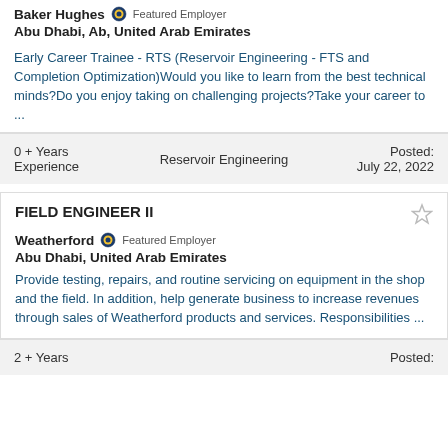Baker Hughes — Featured Employer
Abu Dhabi, Ab, United Arab Emirates
Early Career Trainee - RTS (Reservoir Engineering - FTS and Completion Optimization)Would you like to learn from the best technical minds?Do you enjoy taking on challenging projects?Take your career to ...
0 + Years Experience | Reservoir Engineering | Posted: July 22, 2022
FIELD ENGINEER II
Weatherford — Featured Employer
Abu Dhabi, United Arab Emirates
Provide testing, repairs, and routine servicing on equipment in the shop and the field. In addition, help generate business to increase revenues through sales of Weatherford products and services. Responsibilities ...
2 + Years | Posted: